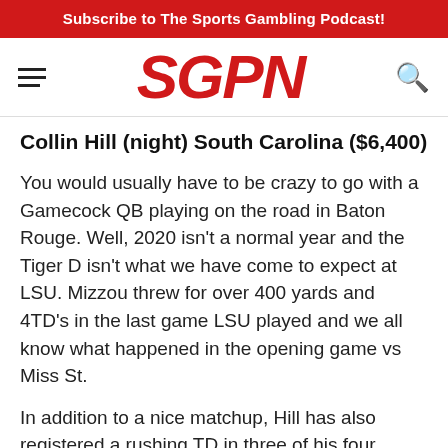Subscribe to The Sports Gambling Podcast!
[Figure (logo): SGPN logo in red bold italic text with hamburger menu and search icon]
Collin Hill (night) South Carolina ($6,400)
You would usually have to be crazy to go with a Gamecock QB playing on the road in Baton Rouge. Well, 2020 isn't a normal year and the Tiger D isn't what we have come to expect at LSU. Mizzou threw for over 400 yards and 4TD's in the last game LSU played and we all know what happened in the opening game vs Miss St.
In addition to a nice matchup, Hill has also registered a rushing TD in three of his four games this year including two vs Vandy. I wouldn't drop too much lower than $6.4K for your 2nd QB in the night